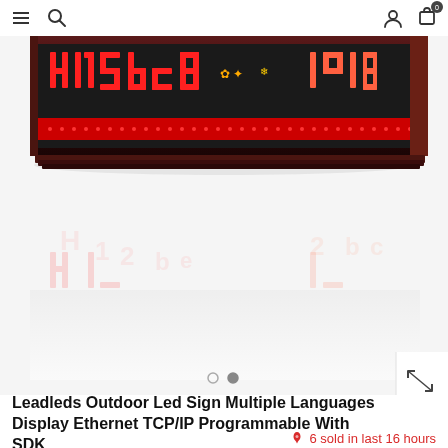Navigation header with hamburger menu, search icon, user icon, and cart icon
[Figure (photo): LED sign product photo showing a Leadleds outdoor LED sign with red scrolling text on a dark wooden frame, with a reflection visible below]
Leadleds Outdoor Led Sign Multiple Languages Display Ethernet TCP/IP Programmable With SDK
6 sold in last 16 hours